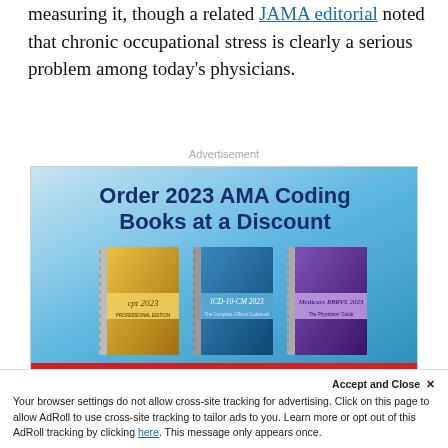measuring it, though a related JAMA editorial noted that chronic occupational stress is clearly a serious problem among today's physicians.
Advertisement
[Figure (illustration): Advertisement for AMA Coding Books: 'Order 2023 AMA Coding Books at a Discount' showing three spiral-bound books (CPT 2023 gold, ICD-10-CM 2023 teal, Medicare RBRVS 2023 purple) on a blue gradient background with AOA Store branding and store.osteopathic.org URL on a red footer.]
Accept and Close ✕
Your browser settings do not allow cross-site tracking for advertising. Click on this page to allow AdRoll to use cross-site tracking to tailor ads to you. Learn more or opt out of this AdRoll tracking by clicking here. This message only appears once.